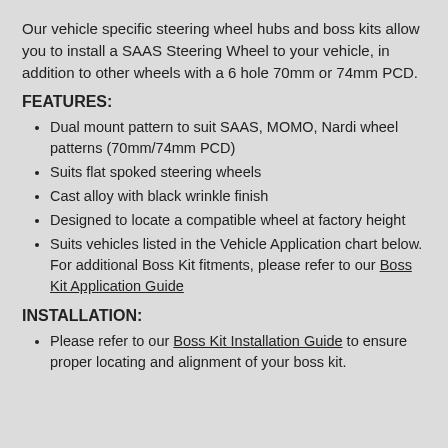Our vehicle specific steering wheel hubs and boss kits allow you to install a SAAS Steering Wheel to your vehicle, in addition to other wheels with a 6 hole 70mm or 74mm PCD.
FEATURES:
Dual mount pattern to suit SAAS, MOMO, Nardi wheel patterns (70mm/74mm PCD)
Suits flat spoked steering wheels
Cast alloy with black wrinkle finish
Designed to locate a compatible wheel at factory height
Suits vehicles listed in the Vehicle Application chart below. For additional Boss Kit fitments, please refer to our Boss Kit Application Guide
INSTALLATION:
Please refer to our Boss Kit Installation Guide to ensure proper locating and alignment of your boss kit.